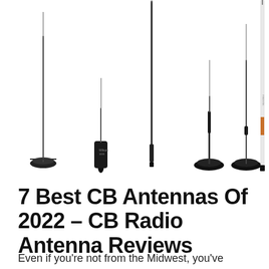[Figure (photo): Seven CB radio antennas of various styles arranged side by side on a white background. From left to right: a black magnetic mount antenna with a small base, a short antenna with a black cylindrical body/base, a tall thin black fiberglass antenna, a short antenna with a rounded black magnetic base, a tall thin antenna with a round black magnetic base, and a tall white fiberglass antenna with an orange/copper section near the bottom.]
7 Best CB Antennas Of 2022 – CB Radio Antenna Reviews
Even if you're not from the Midwest, you've